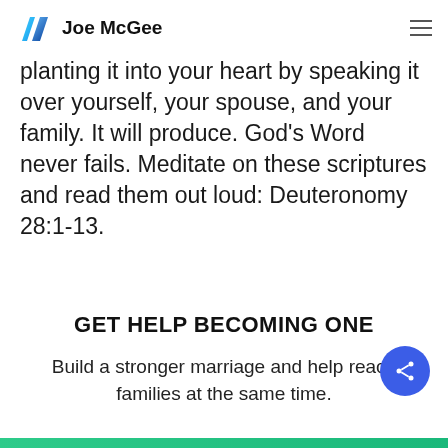Joe McGee
planting it into your heart by speaking it over yourself, your spouse, and your family. It will produce. God's Word never fails. Meditate on these scriptures and read them out loud: Deuteronomy 28:1-13.
GET HELP BECOMING ONE
Build a stronger marriage and help reach families at the same time.